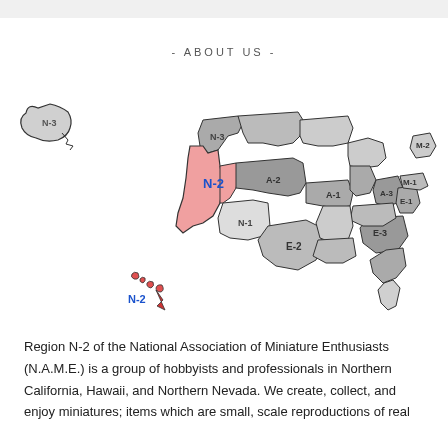- ABOUT US -
[Figure (map): Map of the United States showing NAME regions. Region N-2 (Northern California, Hawaii, Northern Nevada) is highlighted in pink/red. Other regions labeled include N-3 (Alaska, Pacific Northwest), A-2, A-1, N-1, E-2, E-3, E-1, M-1, M-2, A-3. Hawaii inset also labeled N-2.]
Region N-2 of the National Association of Miniature Enthusiasts (N.A.M.E.) is a group of hobbyists and professionals in Northern California, Hawaii, and Northern Nevada. We create, collect, and enjoy miniatures; items which are small, scale reproductions of real